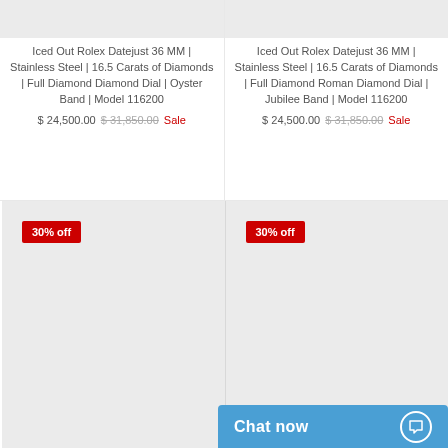[Figure (photo): Product image placeholder top left (gray box)]
Iced Out Rolex Datejust 36 MM | Stainless Steel | 16.5 Carats of Diamonds | Full Diamond Diamond Dial | Oyster Band | Model 116200
$ 24,500.00  $ 31,850.00  Sale
[Figure (photo): Product image placeholder top right (gray box)]
Iced Out Rolex Datejust 36 MM | Stainless Steel | 16.5 Carats of Diamonds | Full Diamond Roman Diamond Dial | Jubilee Band | Model 116200
$ 24,500.00  $ 31,850.00  Sale
[Figure (photo): Product image placeholder bottom left (gray box) with 30% off badge]
[Figure (photo): Product image placeholder bottom right (gray box) with 30% off badge]
Chat now